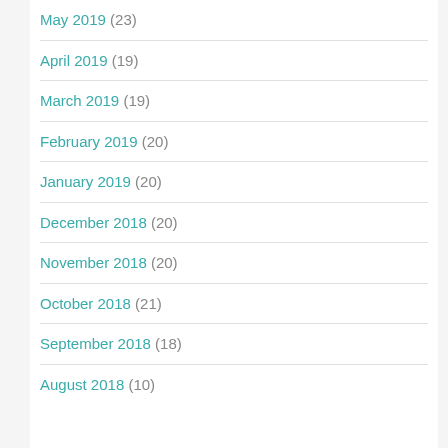May 2019 (23)
April 2019 (19)
March 2019 (19)
February 2019 (20)
January 2019 (20)
December 2018 (20)
November 2018 (20)
October 2018 (21)
September 2018 (18)
August 2018 (10)